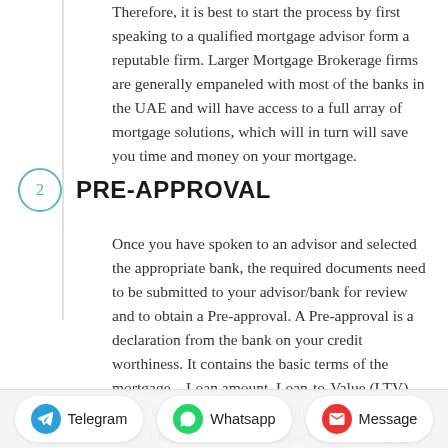Therefore, it is best to start the process by first speaking to a qualified mortgage advisor form a reputable firm. Larger Mortgage Brokerage firms are generally empaneled with most of the banks in the UAE and will have access to a full array of mortgage solutions, which will in turn will save you time and money on your mortgage.
2 PRE-APPROVAL
Once you have spoken to an advisor and selected the appropriate bank, the required documents need to be submitted to your advisor/bank for review and to obtain a Pre-approval. A Pre-approval is a declaration from the bank on your credit worthiness. It contains the basic terms of the mortgage – Loan amount, Loan-to-Value (LTV), tenor, interest rates etc. Obtaining the Pre-approval is the most time-consuming part of the mortgage process; therefore, it is advisable to secure a Pre-approval prior to selecting your property or signing the MOU. Having a Pre-approval will let you know exactly what your
Telegram  Whatsapp  Message